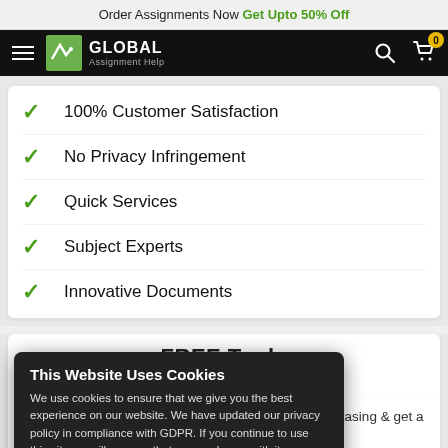Order Assignments Now Get Upto 50% Off
[Figure (logo): Global Assignment Help logo with hamburger menu, search and cart icons in black navigation bar]
100% Customer Satisfaction
No Privacy Infringement
Quick Services
Subject Experts
Innovative Documents
FREE Tools
k Original
This Website Uses Cookies
We use cookies to ensure that we give you the best experience on our website. We have updated our privacy policy in compliance with GDPR. If you continue to use this site we will assume that you are happy with it
you check your work against paraphrasing & get a
Yes, I accept Cookies   View Detail